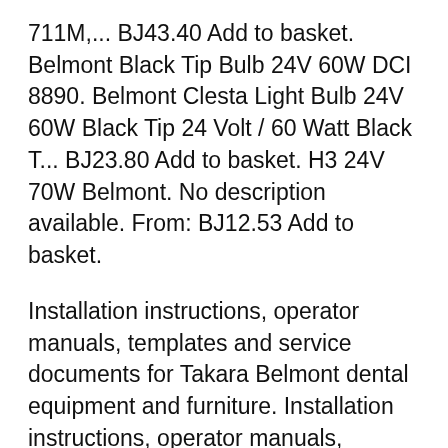711M,... BJ43.40 Add to basket. Belmont Black Tip Bulb 24V 60W DCI 8890. Belmont Clesta Light Bulb 24V 60W Black Tip 24 Volt / 60 Watt Black T... BJ23.80 Add to basket. H3 24V 70W Belmont. No description available. From: BJ12.53 Add to basket.
Installation instructions, operator manuals, templates and service documents for Takara Belmont dental equipment and furniture. Installation instructions, operator manuals, templates and service documents for Takara Belmont dental equipment and furniture. Clesta LED Operation Manual; Clesta LED Parts; Clesta LED Brochure; Clesta Halogen Alibaba.com offers 110...